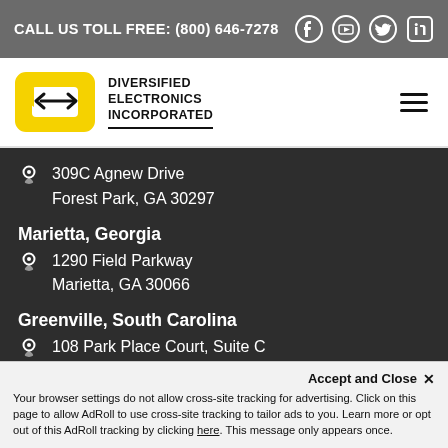CALL US TOLL FREE: (800) 646-7278
[Figure (logo): Diversified Electronics Incorporated logo with yellow arrow icon and company name]
309C Agnew Drive
Forest Park, GA 30297
Marietta, Georgia
1290 Field Parkway
Marietta, GA 30066
Greenville, South Carolina
108 Park Place Court, Suite C
Greenville, SC 29607
Accept and Close ✕
Your browser settings do not allow cross-site tracking for advertising. Click on this page to allow AdRoll to use cross-site tracking to tailor ads to you. Learn more or opt out of this AdRoll tracking by clicking here. This message only appears once.